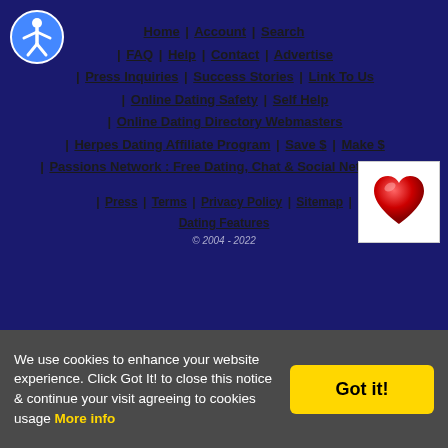[Figure (logo): Accessibility icon - blue circle with white stick figure person]
Home | Account | Search | FAQ | Help | Contact | Advertise | Press Inquiries | Success Stories | Link To Us | Online Dating Safety | Self Help | Online Dating Directory Webmasters | Herpes Dating Affiliate Program | Save $ | Make $ | Passions Network : Free Dating, Chat & Social Networking
Press | Terms | Privacy Policy | Sitemap | Dating Features | © 2004 - 2022
[Figure (illustration): Red heart on white background]
We use cookies to enhance your website experience. Click Got It! to close this notice & continue your visit agreeing to cookies usage More info